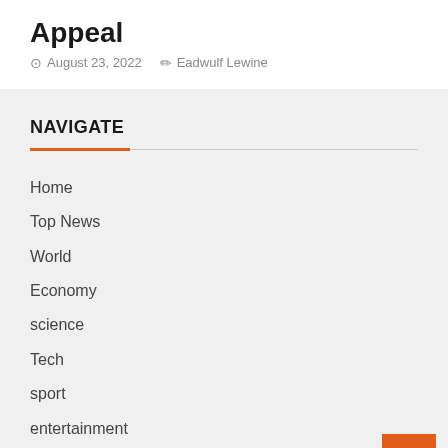Appeal
August 23, 2022  Eadwulf Lewine
NAVIGATE
Home
Top News
World
Economy
science
Tech
sport
entertainment
Contact Form